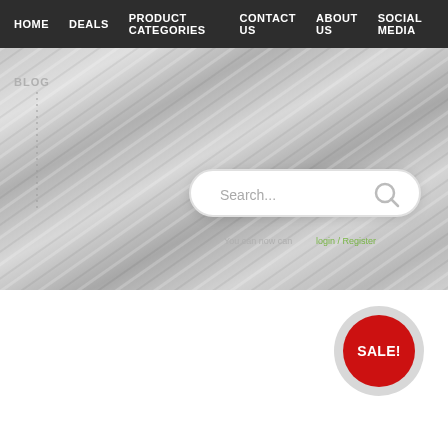HOME | DEALS | PRODUCT CATEGORIES | CONTACT US | ABOUT US | SOCIAL MEDIA
BLOG
[Figure (screenshot): Website screenshot showing a navigation bar with HOME, DEALS, PRODUCT CATEGORIES, CONTACT US, ABOUT US, SOCIAL MEDIA links on a dark background, followed by a metallic gray textured hero area with a BLOG label, a search box with 'Search...' placeholder and magnifying glass icon, and a login/register text link area]
login / Register
SALE!